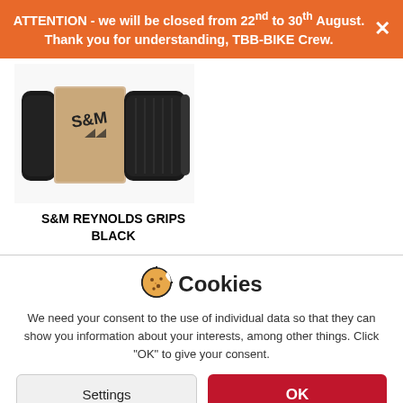ATTENTION - we will be closed from 22nd to 30th August. Thank you for understanding, TBB-BIKE Crew.
[Figure (photo): Photo of S&M Reynolds Grips in Black, showing two black handlebar grips with a cardboard packaging band]
S&M REYNOLDS GRIPS BLACK
We need your consent to the use of individual data so that they can show you information about your interests, among other things. Click "OK" to give your consent.
Settings
OK
You can refuse consent here.